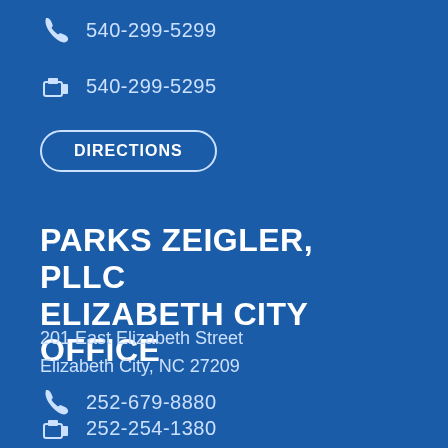540-299-5299
540-299-5295
DIRECTIONS
PARKS ZEIGLER, PLLC ELIZABETH CITY OFFICE
201 East Elizabeth Street
Elizabeth City, NC 27209
252-679-8880
252-254-1380